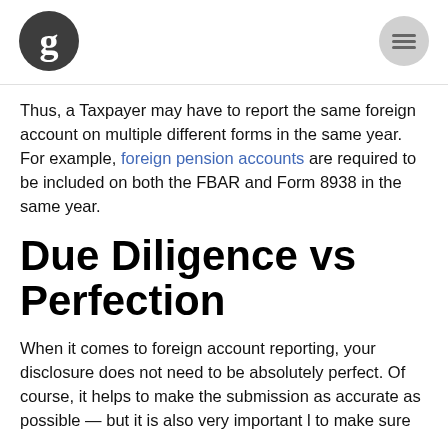[Figure (logo): The Guardian logo – dark circular icon with stylized 'g']
[Figure (other): Hamburger menu icon – grey circle with three horizontal lines]
Thus, a Taxpayer may have to report the same foreign account on multiple different forms in the same year. For example, foreign pension accounts are required to be included on both the FBAR and Form 8938 in the same year.
Due Diligence vs Perfection
When it comes to foreign account reporting, your disclosure does not need to be absolutely perfect. Of course, it helps to make the submission as accurate as possible — but it is also very important l to make sure